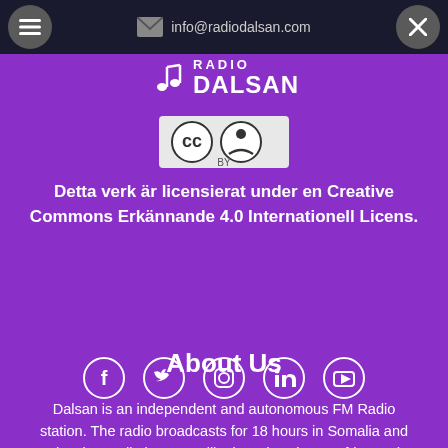info@radiodalsan.com
[Figure (logo): Radio Dalsan logo with music note icon and text RADIO DALSAN]
[Figure (illustration): Creative Commons Attribution (CC BY) license badge]
Detta verk är licensierat under en Creative Commons Erkännande 4.0 Internationell Licens.
About Us
Dalsan is an independent and autonomous FM Radio station. The radio broadcasts for 18 hours in Somalia and also the Radio is on satellite broadcasting to Africa and Asia.
[Figure (illustration): Social media icons: Facebook, Twitter, Instagram, LinkedIn, YouTube]